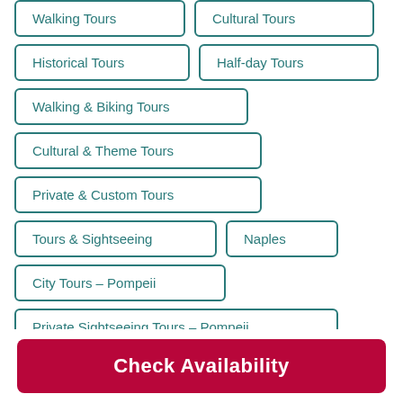Walking Tours
Cultural Tours
Historical Tours
Half-day Tours
Walking & Biking Tours
Cultural & Theme Tours
Private & Custom Tours
Tours & Sightseeing
Naples
City Tours - Pompeii
Private Sightseeing Tours - Pompeii
Check Availability